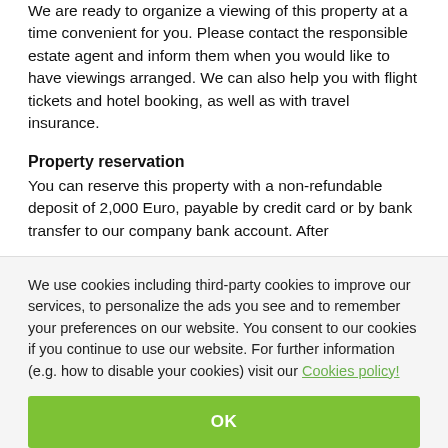We are ready to organize a viewing of this property at a time convenient for you. Please contact the responsible estate agent and inform them when you would like to have viewings arranged. We can also help you with flight tickets and hotel booking, as well as with travel insurance.
Property reservation
You can reserve this property with a non-refundable deposit of 2,000 Euro, payable by credit card or by bank transfer to our company bank account. After
We use cookies including third-party cookies to improve our services, to personalize the ads you see and to remember your preferences on our website. You consent to our cookies if you continue to use our website. For further information (e.g. how to disable your cookies) visit our Cookies policy!
OK